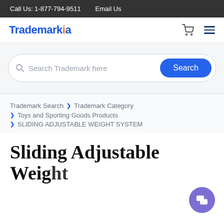Call Us: 1-877-794-9511    Email Us
[Figure (logo): Trademarkia logo with blue text and orange dot, plus cart and hamburger menu icons]
Search Trademark here
Trademark Search > Trademark Category > Toys and Sporting Goods Products > SLIDING ADJUSTABLE WEIGHT SYSTEM
Sliding Adjustable Weight